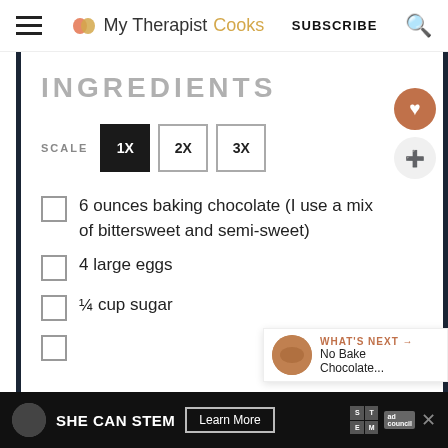My Therapist Cooks  SUBSCRIBE
INGREDIENTS
SCALE 1X 2X 3X
6 ounces baking chocolate (I use a mix of bittersweet and semi-sweet)
4 large eggs
¼ cup sugar
SHE CAN STEM  Learn More